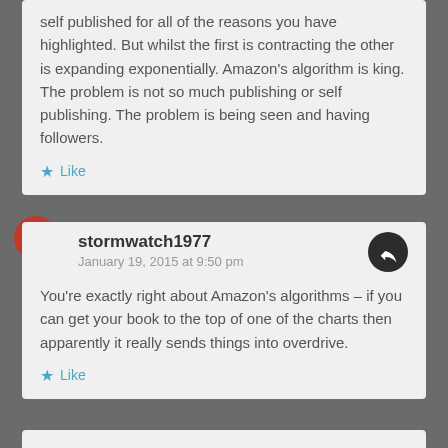self published for all of the reasons you have highlighted. But whilst the first is contracting the other is expanding exponentially. Amazon's algorithm is king. The problem is not so much publishing or self publishing. The problem is being seen and having followers.
Like
stormwatch1977
January 19, 2015 at 9:50 pm
You're exactly right about Amazon's algorithms – if you can get your book to the top of one of the charts then apparently it really sends things into overdrive.
Like